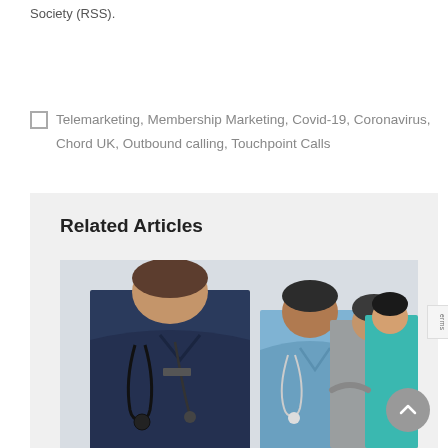Society (RSS).
Telemarketing, Membership Marketing, Covid-19, Coronavirus, Chord UK, Outbound calling, Touchpoint Calls
Related Articles
[Figure (photo): Group of medical professionals in scrubs with stethoscopes, standing in a row. Front person wears dark navy scrubs, others wear light blue, grey, and teal scrubs.]